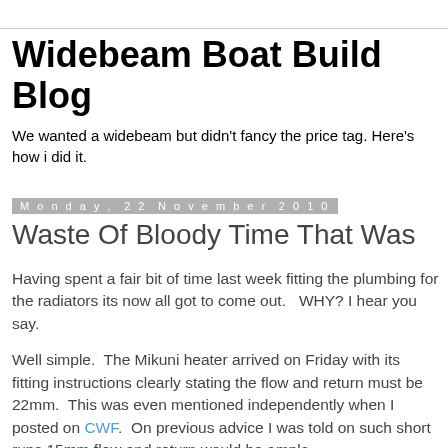Widebeam Boat Build Blog
We wanted a widebeam but didn't fancy the price tag. Here's how i did it.
Monday, 22 November 2010
Waste Of Bloody Time That Was
Having spent a fair bit of time last week fitting the plumbing for the radiators its now all got to come out.   WHY? I hear you say.
Well simple.  The Mikuni heater arrived on Friday with its fitting instructions clearly stating the flow and return must be 22mm.  This was even mentioned independently when I posted on CWF.  On previous advice I was told on such short runs 15mm flow and return would be ample.
So this morning I rang Mikuni technical, and was told that